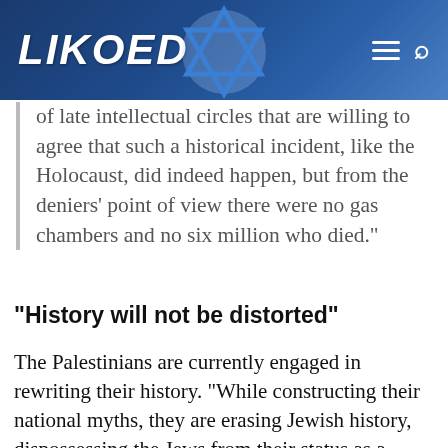LIKOED
of late intellectual circles that are willing to agree that such a historical incident, like the Holocaust, did indeed happen, but from the deniers’ point of view there were no gas chambers and no six million who died.”
“History will not be distorted”
The Palestinians are currently engaged in rewriting their history. “While constructing their national myths, they are erasing Jewish history, dispossessing the Jews from their status as a people, determining that the Jews are tribes and not a people and, therefore, do not deserve the land and that those who do are the Arabs who, in their